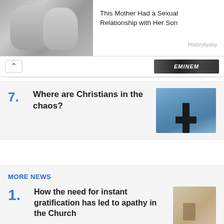[Figure (photo): Black and white vintage photo of a woman in a hat and a man in a suit, looking at each other]
This Mother Had a Sexual Relationship with Her Son
Historybyday
[Figure (screenshot): Navigation bar with up arrow and dark advertisement thumbnail]
7. Where are Christians in the chaos?
[Figure (photo): Photo of a dark cross silhouette against a blue sky]
MORE NEWS
1. How the need for instant gratification has led to apathy in the Church
[Figure (photo): Photo related to church/gratification article]